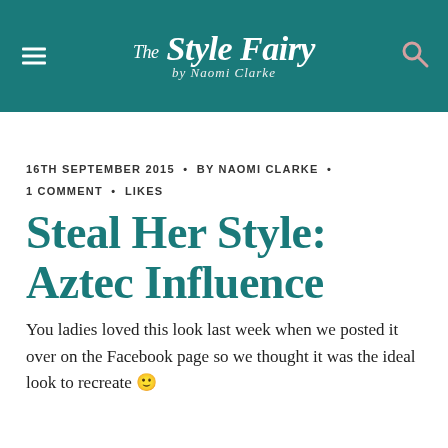The Style Fairy by Naomi Clarke
16TH SEPTEMBER 2015 • BY NAOMI CLARKE • 1 COMMENT • LIKES
Steal Her Style: Aztec Influence
You ladies loved this look last week when we posted it over on the Facebook page so we thought it was the ideal look to recreate 🙂